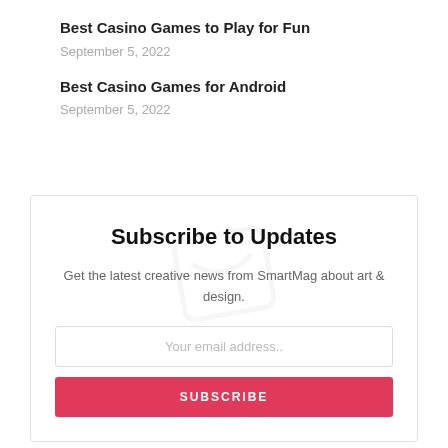Best Casino Games to Play for Fun
September 5, 2022
Best Casino Games for Android
September 5, 2022
Subscribe to Updates
Get the latest creative news from SmartMag about art & design.
Your email address..
SUBSCRIBE